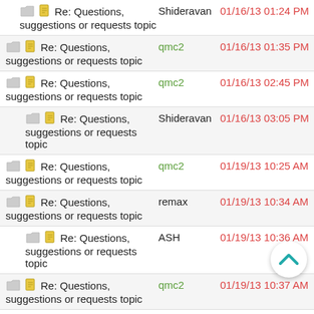Re: Questions, suggestions or requests topic
Re: Questions, suggestions or requests topic
Re: Questions, suggestions or requests topic
Re: Questions, suggestions or requests topic
Re: Questions, suggestions or requests topic
Re: Questions, suggestions or requests topic
Re: Questions, suggestions or requests topic
Re: Questions, suggestions or requests topic
Re: Questions, suggestions or requests topic
Re: Questions, suggestions or requests topic